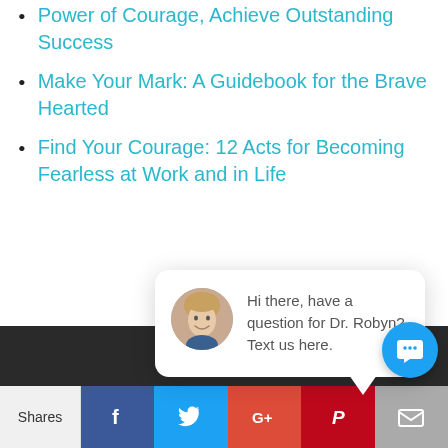Power of Courage, Achieve Outstanding Success
Make Your Mark: A Guidebook for the Brave Hearted
Find Your Courage: 12 Acts for Becoming Fearless at Work and in Life
[Figure (screenshot): Chat popup with avatar photo of Dr. Robyn and text: Hi there, have a question for Dr. Robyn? Text us here. Has a close button.]
[Figure (infographic): Social share bar with Shares label, Facebook, Twitter, Google+, Pinterest, Email icons, and a blue chat FAB button]